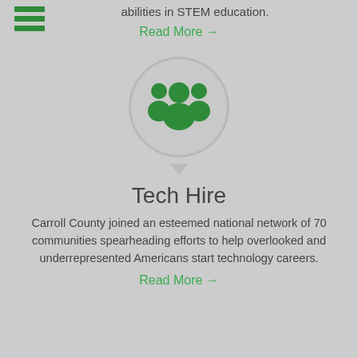advancement of public school students who display natural abilities in STEM education.
Read More →
[Figure (illustration): Green group/community icon (three people silhouettes) inside a circular badge with gear-like border, on gray background]
Tech Hire
Carroll County joined an esteemed national network of 70 communities spearheading efforts to help overlooked and underrepresented Americans start technology careers.
Read More →